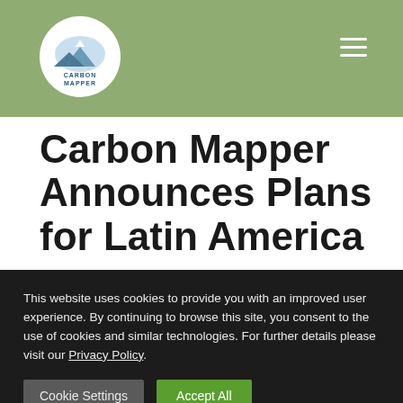Carbon Mapper — Navigation header with logo and hamburger menu
Carbon Mapper Announces Plans for Latin America
This website uses cookies to provide you with an improved user experience. By continuing to browse this site, you consent to the use of cookies and similar technologies. For further details please visit our Privacy Policy.
Cookie Settings | Accept All